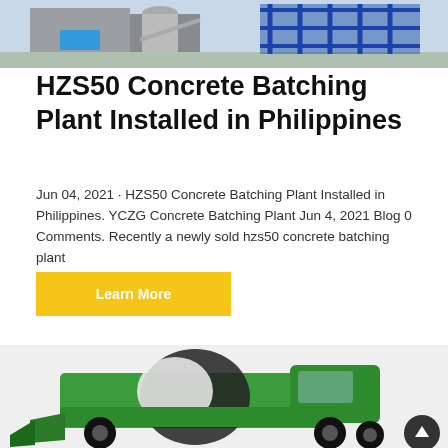[Figure (photo): Concrete batching plant with blue steel frame structure and industrial equipment, photographed outdoors.]
HZS50 Concrete Batching Plant Installed in Philippines
Jun 04, 2021 · HZS50 Concrete Batching Plant Installed in Philippines. YCZG Concrete Batching Plant Jun 4, 2021 Blog 0 Comments. Recently a newly sold hzs50 concrete batching plant
Learn More
[Figure (photo): Green self-loading concrete mixer truck with large rotating drum and cabin, positioned on a white/light grey background.]